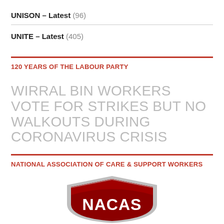UNISON – Latest (96)
UNITE – Latest (405)
120 YEARS OF THE LABOUR PARTY
WIRRAL BIN WORKERS VOTE FOR STRIKES BUT NO WALKOUTS DURING CORONAVIRUS CRISIS
NATIONAL ASSOCIATION OF CARE & SUPPORT WORKERS
[Figure (logo): NACAS shield logo — dark red shield with white text reading NACAS, silver border]